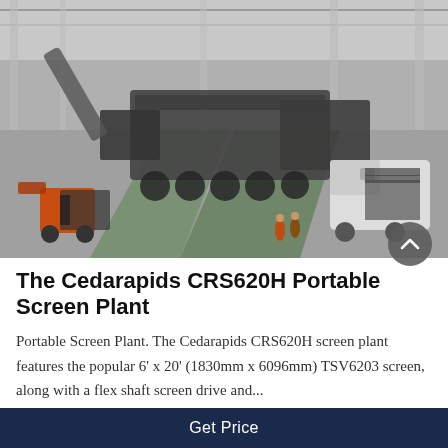[Figure (photo): Aerial/overhead view inside a large industrial factory hall showing heavy mobile crushing and screening equipment on green-painted floor lanes, with forklifts and workers visible, and a white truck at right. Black and white/grayscale photo.]
The Cedarapids CRS620H Portable Screen Plant
Portable Screen Plant. The Cedarapids CRS620H screen plant features the popular 6' x 20' (1830mm x 6096mm) TSV6203 screen, along with a flex shaft screen drive and...
Get Price